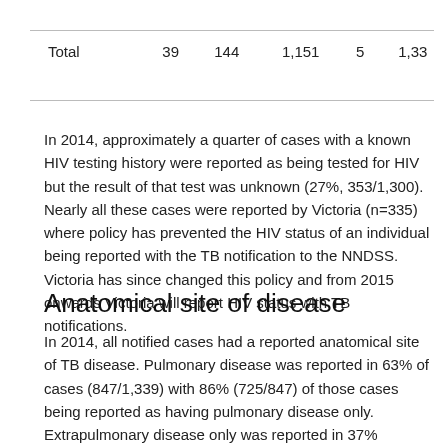| Total | 39 | 144 | 1,151 | 5 | 1,33 |
In 2014, approximately a quarter of cases with a known HIV testing history were reported as being tested for HIV but the result of that test was unknown (27%, 353/1,300). Nearly all these cases were reported by Victoria (n=335) where policy has prevented the HIV status of an individual being reported with the TB notification to the NNDSS. Victoria has since changed this policy and from 2015 onwards Victoria will report HIV status with TB notifications.
Anatomical site of disease
In 2014, all notified cases had a reported anatomical site of TB disease. Pulmonary disease was reported in 63% of cases (847/1,339) with 86% (725/847) of those cases being reported as having pulmonary disease only. Extrapulmonary disease only was reported in 37% (492/1,339) of cases, with the most frequently reported site of extrapulmonary only site of disease being lymph nodes (n=238). Of the more severe forms of TB, the number of cases of miliary (n=9) and meningeal (n=6) TB were the same as the number of